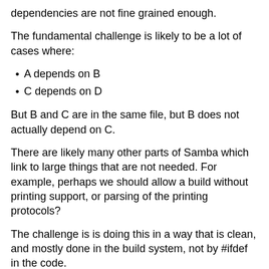dependencies are not fine grained enough.
The fundamental challenge is likely to be a lot of cases where:
A depends on B
C depends on D
But B and C are in the same file, but B does not actually depend on C.
There are likely many other parts of Samba which link to large things that are not needed. For example, perhaps we should allow a build without printing support, or parsing of the printing protocols?
The challenge is is doing this in a way that is clean, and mostly done in the build system, not by #ifdef in the code.
Skills in determining binary dependencies, as well as the build system dependencies (to compare with) would be very helpful in this project.